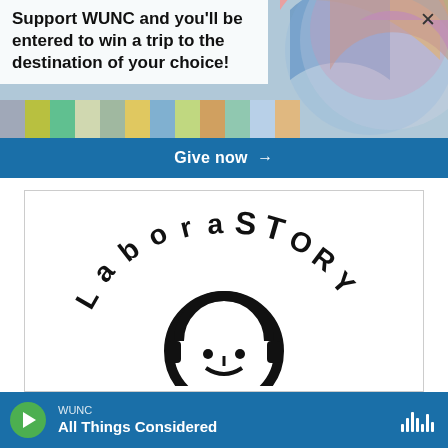Support WUNC and you'll be entered to win a trip to the destination of your choice!
Give now →
[Figure (logo): LaboraSTORY podcast logo — text 'LaboraSTORY' arranged in an arc above a circular headphones/face illustration on white background]
WUNC
All Things Considered